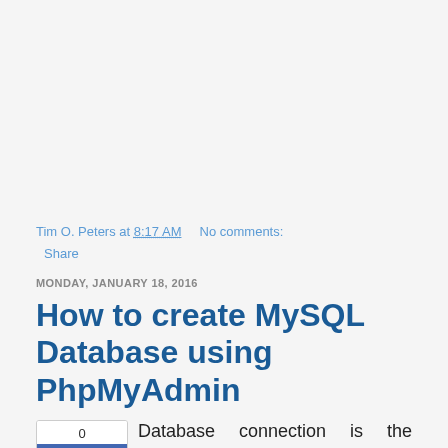Tim O. Peters at 8:17 AM    No comments:
Share
MONDAY, JANUARY 18, 2016
How to create MySQL Database using PhpMyAdmin
Database connection is the backbone of web development, manipulating of data is what most programming languages do, but what